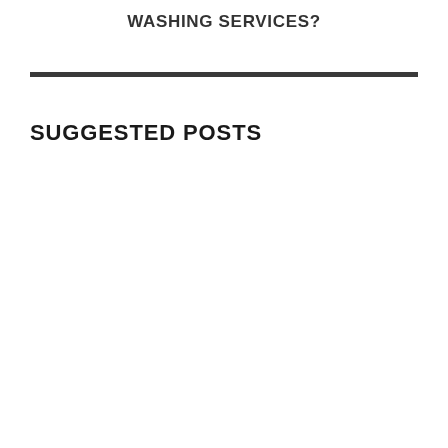WASHING SERVICES?
SUGGESTED POSTS